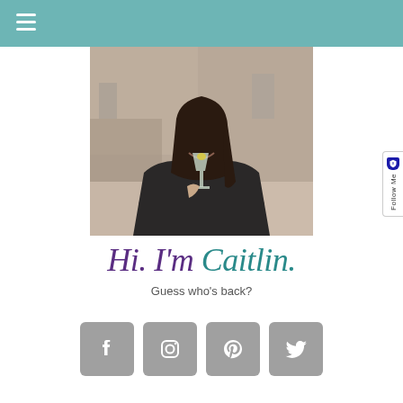Navigation menu
[Figure (photo): A young woman with long dark hair smiling and holding a champagne flute at a restaurant table. She is wearing dark clothing. Background shows restaurant interior.]
Hi. I'm Caitlin.
Guess who's back?
[Figure (infographic): Four social media icon buttons (gray rounded squares): Facebook, Instagram, Pinterest, Twitter]